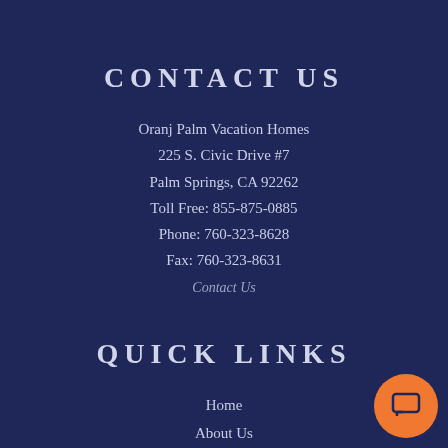CONTACT US
Oranj Palm Vacation Homes
225 S. Civic Drive #7
Palm Springs, CA 92262
Toll Free: 855-875-0885
Phone: 760-323-8628
Fax: 760-323-8631
Contact Us
QUICK LINKS
Home
About Us
Owner Login
Privacy Policy
[Figure (illustration): Orange circular chat/message button icon in the bottom-right corner]